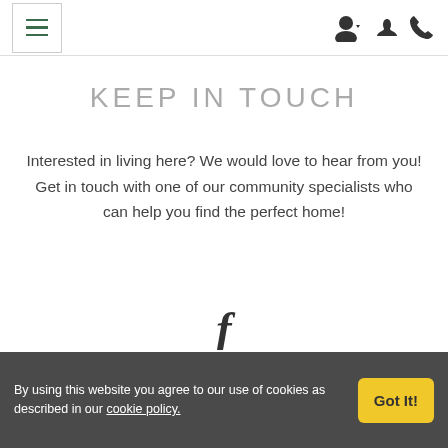[Figure (screenshot): Navigation header bar with hamburger menu icon on left and user/phone icons on right]
KEEP IN TOUCH
Interested in living here? We would love to hear from you! Get in touch with one of our community specialists who can help you find the perfect home!
[Figure (logo): Facebook 'f' icon]
CONTACT
By using this website you agree to our use of cookies as described in our cookie policy.
Got It!